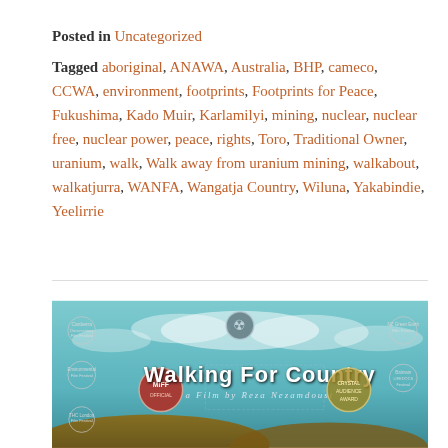Posted in Uncategorized
Tagged aboriginal, ANAWA, Australia, BHP, cameco, CCWA, environment, footprints, Footprints for Peace, Fukushima, Kado Muir, Karlamilyi, mining, nuclear, nuclear free, nuclear power, peace, rights, Toro, Traditional Owner, uranium, walk, Walk away from uranium mining, walkabout, walkatjurra, WANFA, Wangatja Country, Wiluna, Yakabindie, Yeelirrie
[Figure (photo): Film poster for 'Walking For Country - a Film by Reza Nezamdoust' with festival laurels and a teal sky background]